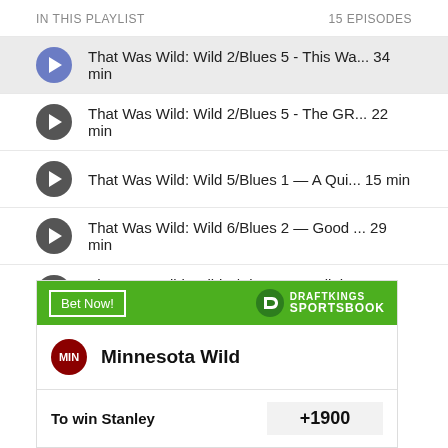IN THIS PLAYLIST   15 EPISODES
That Was Wild: Wild 2/Blues 5 - This Wa... 34 min
That Was Wild: Wild 2/Blues 5 - The GR... 22 min
That Was Wild: Wild 5/Blues 1 — A Qui... 15 min
That Was Wild: Wild 6/Blues 2 — Good ... 29 min
That Was Wild: Wild 0/Blues 4 - Well tha...26 min
[Figure (screenshot): DraftKings Sportsbook advertisement banner showing Minnesota Wild team with 'Bet Now!' button, 'To win Stanley' bet with +1900 odds]
Minnesota Wild
To win Stanley   +1900